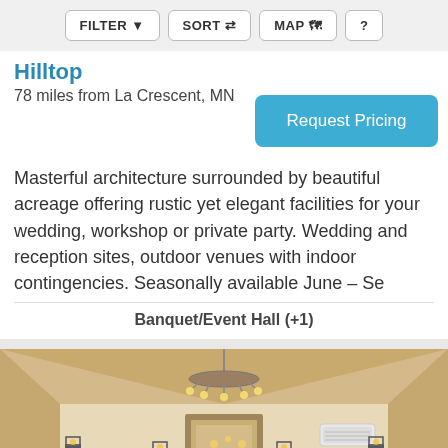FILTER   SORT   MAP   ?
Hilltop
78 miles from La Crescent, MN
Request Pricing
Masterful architecture surrounded by beautiful acreage offering rustic yet elegant facilities for your wedding, workshop or private party. Wedding and reception sites, outdoor venues with indoor contingencies. Seasonally available June – Se
Banquet/Event Hall (+1)
[Figure (photo): Interior of a rustic wedding venue with vaulted wood ceiling, chandelier, and a couple standing at the altar]